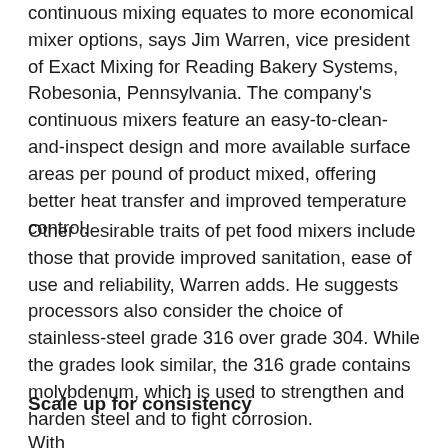continuous mixing equates to more economical mixer options, says Jim Warren, vice president of Exact Mixing for Reading Bakery Systems, Robesonia, Pennsylvania. The company's continuous mixers feature an easy-to-clean-and-inspect design and more available surface areas per pound of product mixed, offering better heat transfer and improved temperature control.
Other desirable traits of pet food mixers include those that provide improved sanitation, ease of use and reliability, Warren adds. He suggests processors also consider the choice of stainless-steel grade 316 over grade 304. While the grades look similar, the 316 grade contains molybdenum, which is used to strengthen and harden steel and to fight corrosion.
Scale up for consistency
With...